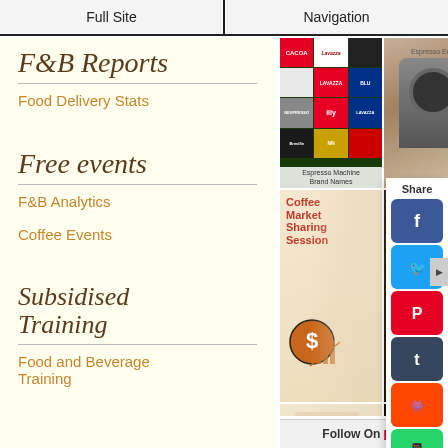Full Site | Navigation
F&B Reports
Food Delivery Stats
Free events
F&B Analytics
Coffee Events
Subsidised Training
Food and Beverage Training
[Figure (photo): Pinterest image grid showing espresso machine brand logos, espresso machine photo, Coffee Market Sharing Session event poster, grind coffee beans image, coffee cup latte art photo, and how to sell food online post]
Share
Follow On Pinterest